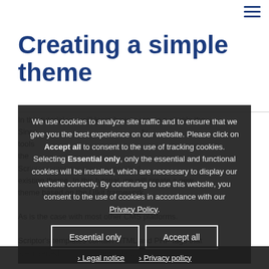[hamburger menu icon]
Creating a simple theme
In this tutorial you will learn how to create a simple theme that can be used in your Scriptor website. Since Scriptor is a PHP CMS, it comes with powerful tools that help designers and developers to create their own unique templates. Scriptor templates may be modified from the admin area, or you can create a whole new theme based on an existing theme. In this tutorial, we will create a new theme based on the UIkit framework.
As is the case with most other CMS platforms, Scriptor's templates contain HTML and PHP tags that are inserted where necessary to display the content.
We use cookies to analyze site traffic and to ensure that we give you the best experience on our website. Please click on Accept all to consent to the use of tracking cookies. Selecting Essential only, only the essential and functional cookies will be installed, which are necessary to display our website correctly. By continuing to use this website, you consent to the use of cookies in accordance with our Privacy Policy.
› Legal notice   › Privacy policy